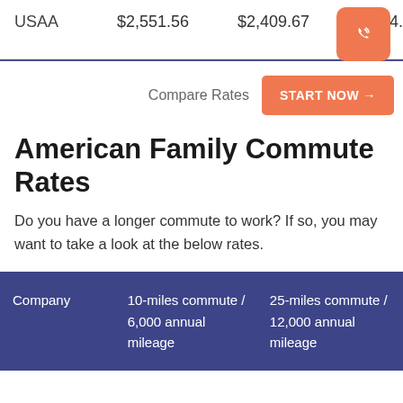|  | 10-miles commute / 6,000 annual mileage | 25-miles commute / 12,000 annual mileage |
| --- | --- | --- |
| USAA | $2,551.56 | $2,409.67 | $2,454.5... |
Compare Rates
American Family Commute Rates
Do you have a longer commute to work? If so, you may want to take a look at the below rates.
| Company | 10-miles commute / 6,000 annual mileage | 25-miles commute / 12,000 annual mileage |
| --- | --- | --- |